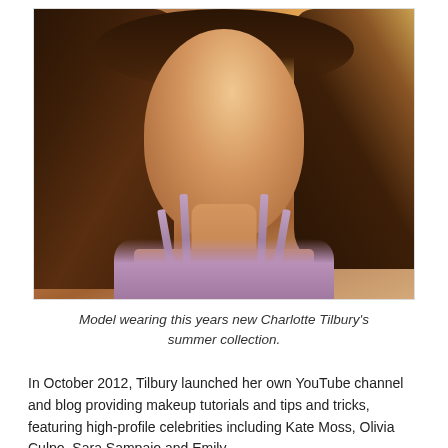[Figure (photo): Close-up portrait of a female model with long brown hair, wearing a sparkly/glittery strap garment, against a warm golden-brown background.]
Model wearing this years new Charlotte Tilbury's summer collection.
In October 2012, Tilbury launched her own YouTube channel and blog providing makeup tutorials and tips and tricks, featuring high-profile celebrities including Kate Moss, Olivia Culpo, Sara Sampaio and Emily